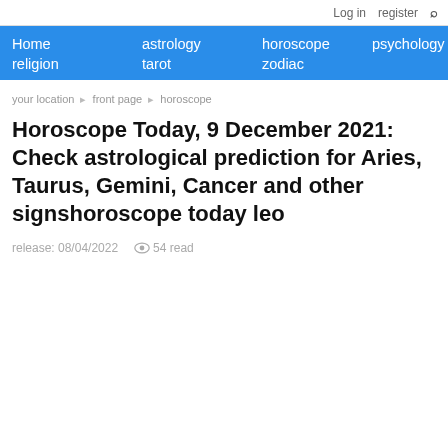Log in  register
Home  astrology  horoscope  psychology  religion  tarot  zodiac
your location ▸ front page ▸ horoscope
Horoscope Today, 9 December 2021: Check astrological prediction for Aries, Taurus, Gemini, Cancer and other signshoroscope today leo
release: 08/04/2022   👁 54 read